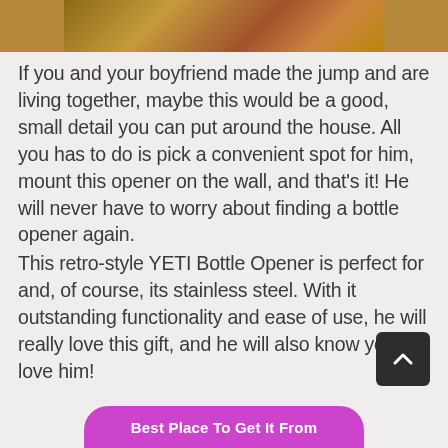[Figure (photo): Partial photo of a decorative item (likely a rustic bottle opener or antler-themed object) visible at the top of the page, cropped.]
If you and your boyfriend made the jump and are living together, maybe this would be a good, small detail you can put around the house. All you has to do is pick a convenient spot for him, mount this opener on the wall, and that’s it! He will never have to worry about finding a bottle opener again.
This retro-style YETI Bottle Opener is perfect for and, of course, its stainless steel. With it outstanding functionality and ease of use, he will really love this gift, and he will also know you love him!
Best Place To Get It From